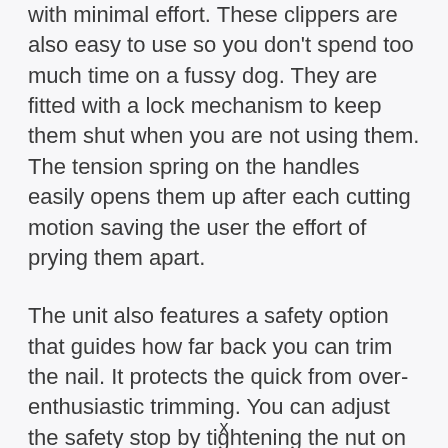with minimal effort. These clippers are also easy to use so you don't spend too much time on a fussy dog. They are fitted with a lock mechanism to keep them shut when you are not using them. The tension spring on the handles easily opens them up after each cutting motion saving the user the effort of prying them apart.
The unit also features a safety option that guides how far back you can trim the nail. It protects the quick from over-enthusiastic trimming. You can adjust the safety stop by tightening the nut on the back of the clippers.
The blades are stainless steel and corrosion-
x